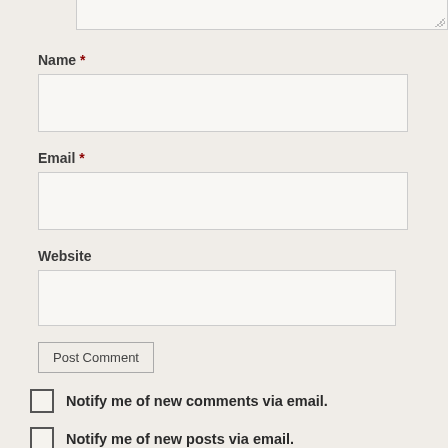Name *
[Figure (screenshot): Text input field for Name]
Email *
[Figure (screenshot): Text input field for Email]
Website
[Figure (screenshot): Text input field for Website]
Post Comment
Notify me of new comments via email.
Notify me of new posts via email.